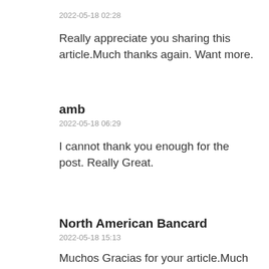2022-05-18 02:28
Really appreciate you sharing this article.Much thanks again. Want more.
amb
2022-05-18 06:29
I cannot thank you enough for the post. Really Great.
North American Bancard
2022-05-18 15:13
Muchos Gracias for your article.Much thanks again.